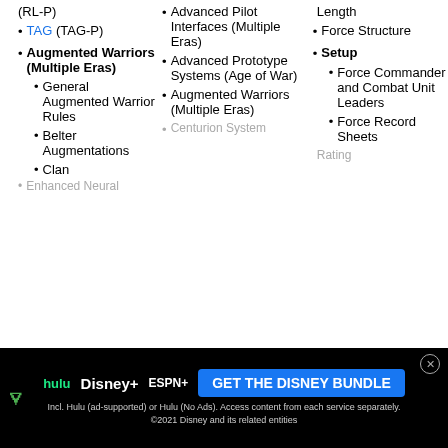(RL-P)
TAG (TAG-P)
Augmented Warriors (Multiple Eras)
General Augmented Warrior Rules
Belter Augmentations
Clan
Advanced Pilot Interfaces (Multiple Eras)
Advanced Prototype Systems (Age of War)
Augmented Warriors (Multiple Eras)
Centurion
Length
Force Structure
Setup
Force Commander and Combat Unit Leaders
Force Record Sheets
Ship Rating